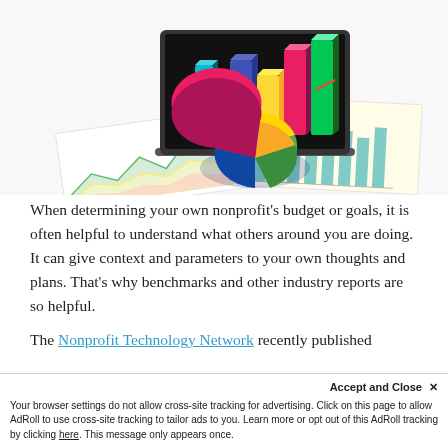[Figure (illustration): A 3D illustration of colorful bar charts, pie charts, and line charts displayed on and around a laptop computer, with printed chart reports scattered beneath.]
When determining your own nonprofit's budget or goals, it is often helpful to understand what others around you are doing. It can give context and parameters to your own thoughts and plans. That's why benchmarks and other industry reports are so helpful.
The Nonprofit Technology Network recently published
Your browser settings do not allow cross-site tracking for advertising. Click on this page to allow AdRoll to use cross-site tracking to tailor ads to you. Learn more or opt out of this AdRoll tracking by clicking here. This message only appears once.